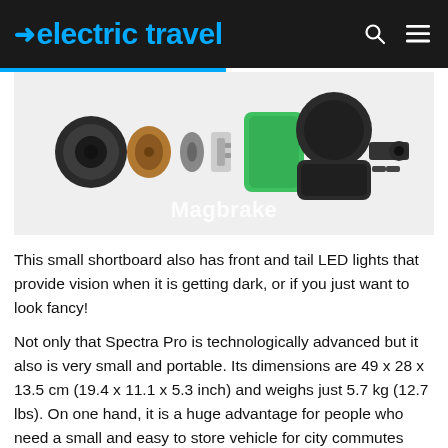electric travel
[Figure (photo): Exploded view of a Magbrake electric skateboard brake component showing individual parts separated along a horizontal axis, with black housing, copper/metallic ring, grey discs, green cylinder and black cap. Text 'Magbrake' overlaid at the bottom.]
This small shortboard also has front and tail LED lights that provide vision when it is getting dark, or if you just want to look fancy!
Not only that Spectra Pro is technologically advanced but it also is very small and portable. Its dimensions are 49 x 28 x 13.5 cm (19.4 x 11.1 x 5.3 inch) and weighs just 5.7 kg (12.7 lbs). On one hand, it is a huge advantage for people who need a small and easy to store vehicle for city commutes